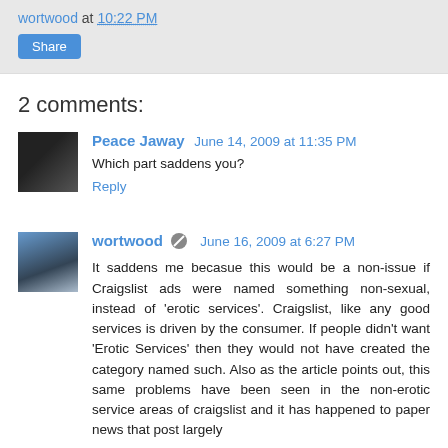wortwood at 10:22 PM
Share
2 comments:
Peace Jaway  June 14, 2009 at 11:35 PM
Which part saddens you?
Reply
wortwood  June 16, 2009 at 6:27 PM
It saddens me becasue this would be a non-issue if Craigslist ads were named something non-sexual, instead of 'erotic services'. Craigslist, like any good services is driven by the consumer. If people didn't want 'Erotic Services' then they would not have created the category named such. Also as the article points out, this same problems have been seen in the non-erotic service areas of craigslist and it has happened to paper news that post largely